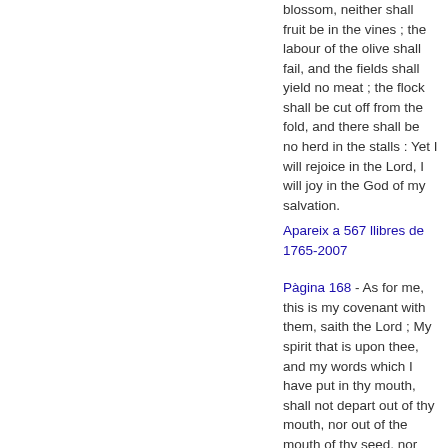blossom, neither shall fruit be in the vines ; the labour of the olive shall fail, and the fields shall yield no meat ; the flock shall be cut off from the fold, and there shall be no herd in the stalls : Yet I will rejoice in the Lord, I will joy in the God of my salvation.
Apareix a 567 llibres de 1765-2007
Pàgina 168 - As for me, this is my covenant with them, saith the Lord ; My spirit that is upon thee, and my words which I have put in thy mouth, shall not depart out of thy mouth, nor out of the mouth of thy seed, nor